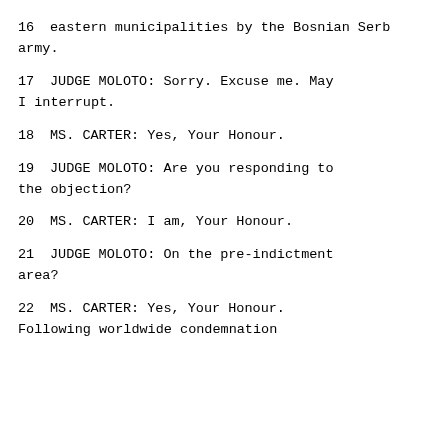16     eastern municipalities by the Bosnian Serb army.
17          JUDGE MOLOTO:  Sorry.  Excuse me.  May I interrupt.
18          MS. CARTER:  Yes, Your Honour.
19          JUDGE MOLOTO:  Are you responding to the objection?
20          MS. CARTER:  I am, Your Honour.
21          JUDGE MOLOTO:  On the pre-indictment area?
22          MS. CARTER:  Yes, Your Honour. Following worldwide condemnation